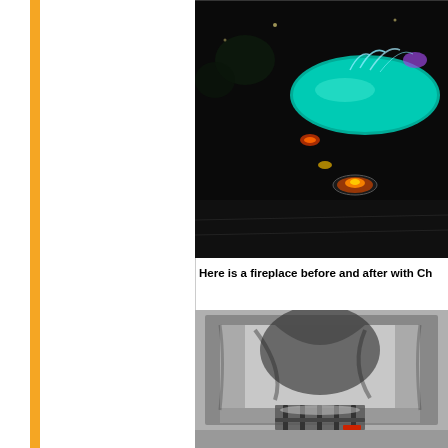[Figure (photo): Nighttime outdoor pool/spa area with colorful LED lighting, glowing blue-green pool with water jets and purple/red accent lights on dark patio]
Here is a fireplace before and after with Ch
[Figure (photo): Black and white photo of a fireplace interior showing soot-stained walls, debris, and a metal grate]